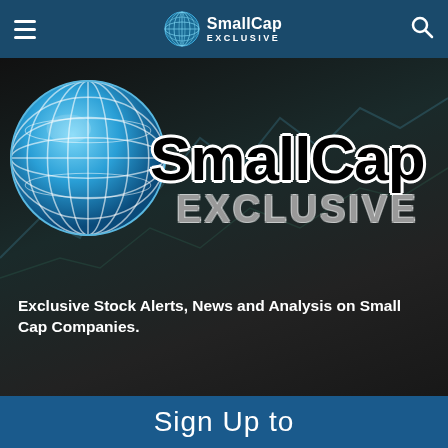SmallCap EXCLUSIVE
[Figure (logo): SmallCap Exclusive logo: blue globe wireframe with 'SmallCap' in large bold black text with white outline and 'EXCLUSIVE' in large bold gray text below]
Exclusive Stock Alerts, News and Analysis on Small Cap Companies.
Sign Up to